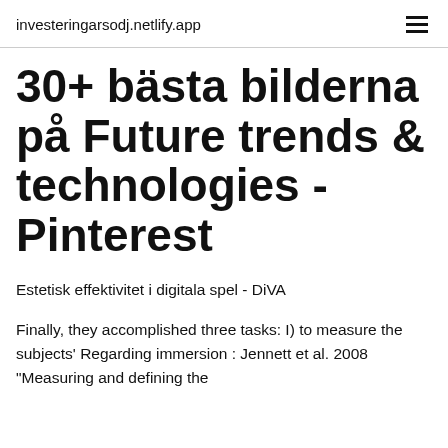investeringarsodj.netlify.app
30+ bästa bilderna på Future trends & technologies - Pinterest
Estetisk effektivitet i digitala spel - DiVA
Finally, they accomplished three tasks: I) to measure the subjects' Regarding immersion : Jennett et al. 2008 "Measuring and defining the